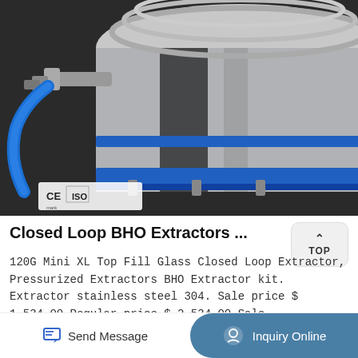[Figure (photo): Close-up photo of a stainless steel closed loop BHO extractor with blue fittings and blue hose. CE and ISO logos visible in the lower left of the image.]
Closed Loop BHO Extractors ...
120G Mini XL Top Fill Glass Closed Loop Extractor, Pressurized Extractors BHO Extractor kit. Extractor stainless steel 304. Sale price $ 1,534.00 Regular price $ 2,534.00 Sale
Learn More
Send Message   Inquiry Online